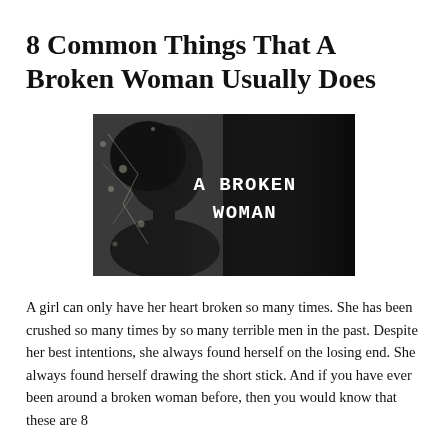8 Common Things That A Broken Woman Usually Does
[Figure (photo): Black and white image of a woman's profile silhouette on the left side with text 'A BROKEN WOMAN' in white typewriter-style font on the right dark side of the image.]
A girl can only have her heart broken so many times. She has been crushed so many times by so many terrible men in the past. Despite her best intentions, she always found herself on the losing end. She always found herself drawing the short stick. And if you have ever been around a broken woman before, then you would know that these are 8 common things that she might usually do.